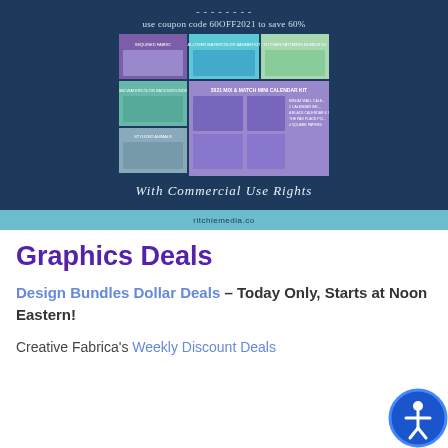[Figure (illustration): Promotional banner on dark navy background showing a product bundle (mix and match mini calendar kit). Includes coupon code '60OFF2021 to save 60%', a grid of product preview thumbnails, and script text 'With Commercial Use Rights' in white italic. Bottom teal bar shows 'ritchiemedia.co'.]
Graphics Deals
Design Bundles Dollar Deals – Today Only, Starts at Noon Eastern!
Creative Fabrica's Weekly Discount Deals